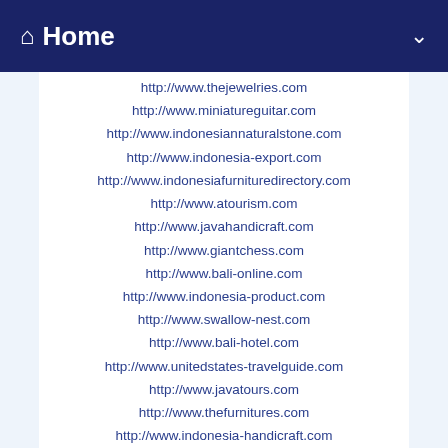Home
http://www.thejewelries.com
http://www.miniatureguitar.com
http://www.indonesiannaturalstone.com
http://www.indonesia-export.com
http://www.indonesiafurnituredirectory.com
http://www.atourism.com
http://www.javahandicraft.com
http://www.giantchess.com
http://www.bali-online.com
http://www.indonesia-product.com
http://www.swallow-nest.com
http://www.bali-hotel.com
http://www.unitedstates-travelguide.com
http://www.javatours.com
http://www.thefurnitures.com
http://www.indonesia-handicraft.com
http://www.rattanland.com
http://www.abc-chess.com
http://www.videostravelguide.com
http://www.javarattan.com